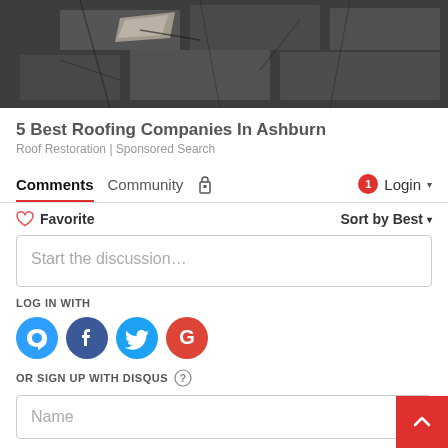[Figure (photo): Cracked and damaged roof shingles photo]
5 Best Roofing Companies In Ashburn
Roof Restoration | Sponsored Search
Comments  Community  [lock icon]  [notification badge: 1]  Login ▾
♡ Favorite    Sort by Best ▾
Start the discussion…
LOG IN WITH
[Figure (illustration): Social login icons: Disqus (D), Facebook (f), Twitter bird, Google (G)]
OR SIGN UP WITH DISQUS ⓘ
Name